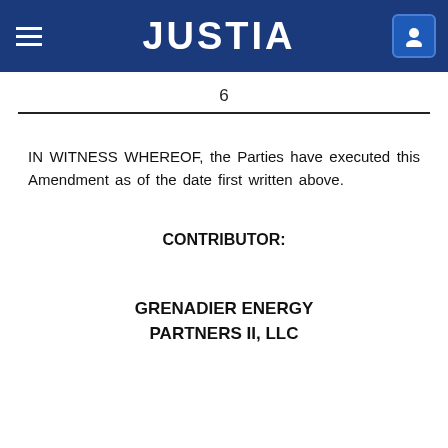JUSTIA
6
IN WITNESS WHEREOF, the Parties have executed this Amendment as of the date first written above.
CONTRIBUTOR:
GRENADIER ENERGY PARTNERS II, LLC